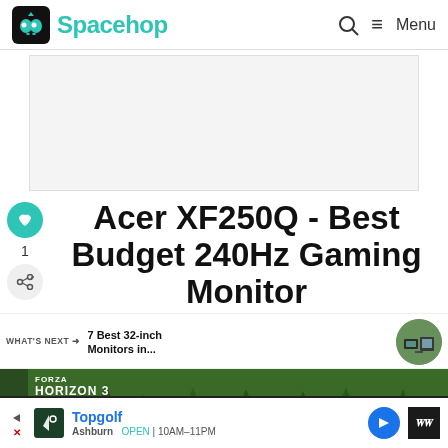Spacehop — Menu
[Figure (other): Advertisement banner placeholder (gray rectangle)]
Acer XF250Q - Best Budget 240Hz Gaming Monitor
[Figure (photo): What's Next: 7 Best 32-inch Monitors in... — thumbnail circular image of monitor showing forest/trees]
[Figure (screenshot): Forza Horizon 3 gameplay screenshot showing trees and landscape]
[Figure (other): Bottom ad: Topgolf — Ashburn OPEN 10AM-11PM advertisement with play button, logo, navigation arrow, and media widget]